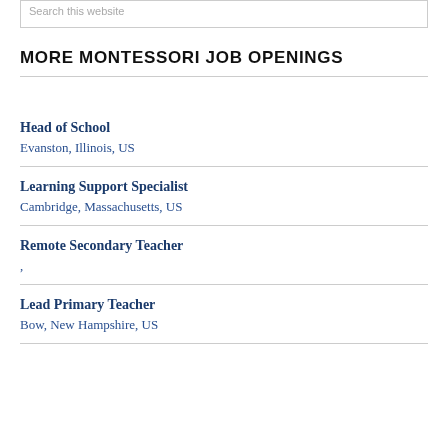Search this website
MORE MONTESSORI JOB OPENINGS
Head of School
Evanston, Illinois, US
Learning Support Specialist
Cambridge, Massachusetts, US
Remote Secondary Teacher
,
Lead Primary Teacher
Bow, New Hampshire, US